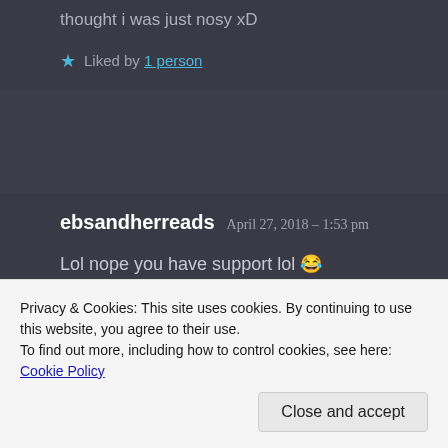thought i was just nosy xD
Liked by 1 person
ebsandherreads  April 27, 2018 – 1:53 pm
Lol nope you have support lol 😂
Privacy & Cookies: This site uses cookies. By continuing to use this website, you agree to their use.
To find out more, including how to control cookies, see here: Cookie Policy
Close and accept